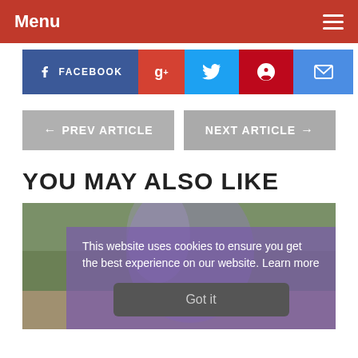Menu
[Figure (screenshot): Social share buttons: Facebook, Google+, Twitter, Pinterest, Email]
← PREV ARTICLE   NEXT ARTICLE →
YOU MAY ALSO LIKE
[Figure (photo): Outdoor photo with purple/lavender tones, with a cookie consent overlay reading: 'This website uses cookies to ensure you get the best experience on our website. Learn more' and a 'Got it' button.]
This website uses cookies to ensure you get the best experience on our website.  Learn more
Got it